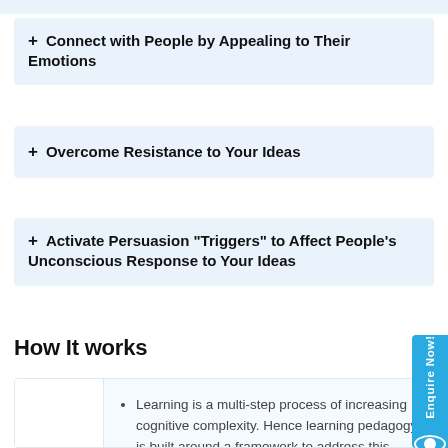+ Connect with People by Appealing to Their Emotions
+ Overcome Resistance to Your Ideas
+ Activate Persuasion "Triggers" to Affect People's Unconscious Response to Your Ideas
How It works
Learning is a multi-step process of increasing cognitive complexity. Hence learning pedagogy, is built around a framework to address this.